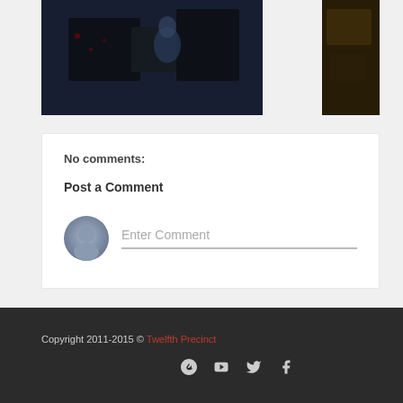[Figure (photo): Dark screenshot/photo, left panel]
[Figure (photo): Dark screenshot/photo, right panel]
No comments:
Post a Comment
Enter Comment
Copyright 2011-2015 © Twelfth Precinct